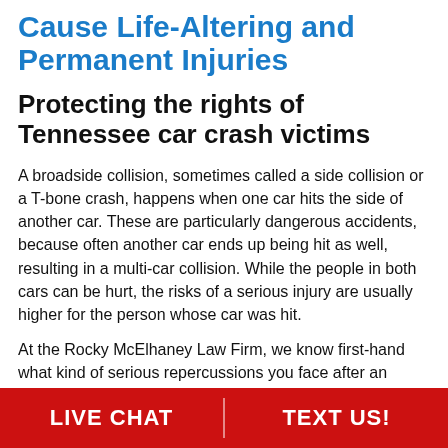Cause Life-Altering and Permanent Injuries
Protecting the rights of Tennessee car crash victims
A broadside collision, sometimes called a side collision or a T-bone crash, happens when one car hits the side of another car. These are particularly dangerous accidents, because often another car ends up being hit as well, resulting in a multi-car collision. While the people in both cars can be hurt, the risks of a serious injury are usually higher for the person whose car was hit.
At the Rocky McElhaney Law Firm, we know first-hand what kind of serious repercussions you face after an
LIVE CHAT   TEXT US!